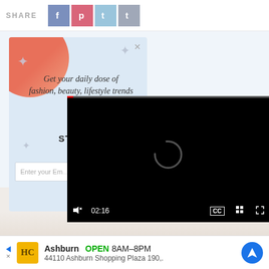SHARE | f | p | t (Twitter) | t (Tumblr)
[Figure (screenshot): Newsletter signup popup overlay on a light-blue background. Shows 'Get your daily dose of fashion, beauty, lifestyle trends' in italic serif font with decorative stars, a STYLECASTER logo, and an email input field. A red/coral circle decorates the top-left corner.]
[Figure (screenshot): Video player overlay showing a black screen with a loading spinner. Controls bar shows mute icon, timestamp 02:16, CC button, grid/chapters button, and fullscreen button.]
Get your daily dose of fashion, beauty, lifestyle trends
Enter your Email
Ashburn OPEN 8AM-8PM 44110 Ashburn Shopping Plaza 190,